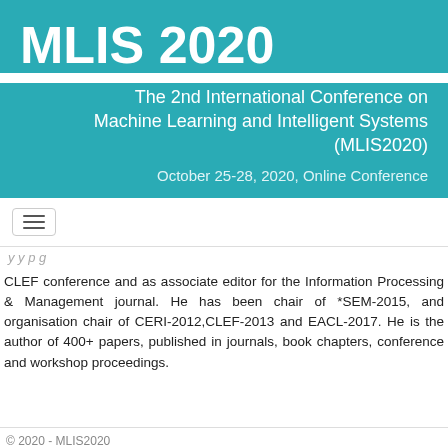MLIS 2020
The 2nd International Conference on Machine Learning and Intelligent Systems (MLIS2020)
October 25-28, 2020, Online Conference
[Figure (other): Navigation hamburger menu button]
CLEF conference and as associate editor for the Information Processing & Management journal. He has been chair of *SEM-2015, and organisation chair of CERI-2012,CLEF-2013 and EACL-2017. He is the author of 400+ papers, published in journals, book chapters, conference and workshop proceedings.
© 2020 - MLIS2020